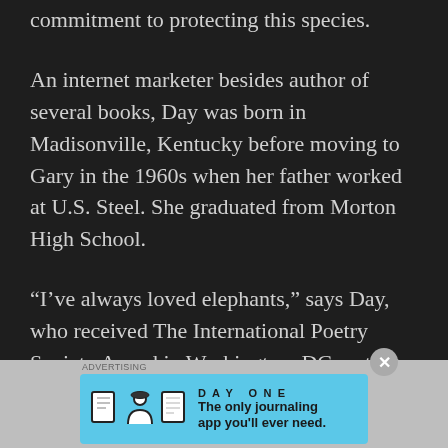commitment to protecting this species.
An internet marketer besides author of several books, Day was born in Madisonville, Kentucky before moving to Gary in the 1960s when her father worked at U.S. Steel. She graduated from Morton High School.
“I’ve always loved elephants,” says Day, who received The International Poetry Society Award in Washington, DC, noting that she
[Figure (infographic): DayOne journaling app advertisement banner with icons and tagline 'The only journaling app you'll ever need.']